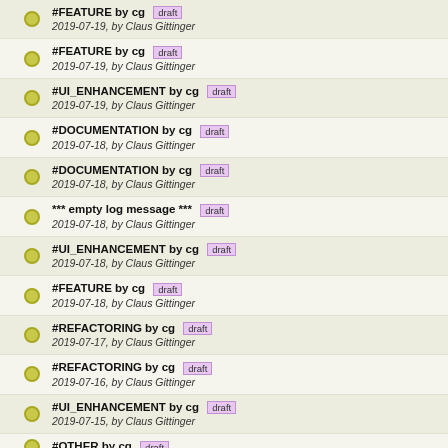#FEATURE by cg draft
2019-07-19, by Claus Gittinger
#FEATURE by cg draft
2019-07-19, by Claus Gittinger
#UI_ENHANCEMENT by cg draft
2019-07-19, by Claus Gittinger
#DOCUMENTATION by cg draft
2019-07-18, by Claus Gittinger
#DOCUMENTATION by cg draft
2019-07-18, by Claus Gittinger
*** empty log message *** draft
2019-07-18, by Claus Gittinger
#UI_ENHANCEMENT by cg draft
2019-07-18, by Claus Gittinger
#FEATURE by cg draft
2019-07-18, by Claus Gittinger
#REFACTORING by cg draft
2019-07-17, by Claus Gittinger
#REFACTORING by cg draft
2019-07-16, by Claus Gittinger
#UI_ENHANCEMENT by cg draft
2019-07-15, by Claus Gittinger
#OTHER by cg draft